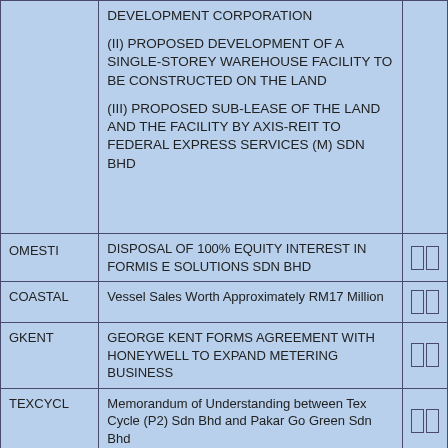| Company | Description |  |
| --- | --- | --- |
|  | DEVELOPMENT CORPORATION

(II) PROPOSED DEVELOPMENT OF A SINGLE-STOREY WAREHOUSE FACILITY TO BE CONSTRUCTED ON THE LAND

(III) PROPOSED SUB-LEASE OF THE LAND AND THE FACILITY BY AXIS-REIT TO FEDERAL EXPRESS SERVICES (M) SDN BHD |  |
| OMESTI | DISPOSAL OF 100% EQUITY INTEREST IN FORMIS E SOLUTIONS SDN BHD |  |
| COASTAL | Vessel Sales Worth Approximately RM17 Million |  |
| GKENT | GEORGE KENT FORMS AGREEMENT WITH HONEYWELL TO EXPAND METERING BUSINESS |  |
| TEXCYCL | Memorandum of Understanding between Tex Cycle (P2) Sdn Bhd and Pakar Go Green Sdn Bhd |  |